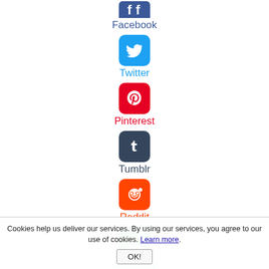[Figure (logo): Facebook logo icon - blue rounded square with 'f' letters]
Facebook
[Figure (logo): Twitter logo icon - blue rounded square with bird]
Twitter
[Figure (logo): Pinterest logo icon - red rounded square with 'P' pin]
Pinterest
[Figure (logo): Tumblr logo icon - dark blue rounded square with 't']
Tumblr
[Figure (logo): Reddit logo icon - orange rounded square with alien mascot]
Reddit
[Figure (logo): WhatsApp logo icon - green rounded square with phone/chat]
WhatsApp
[Figure (logo): Messenger logo icon - blue rounded square with lightning bolt]
Cookies help us deliver our services. By using our services, you agree to our use of cookies. Learn more. OK!